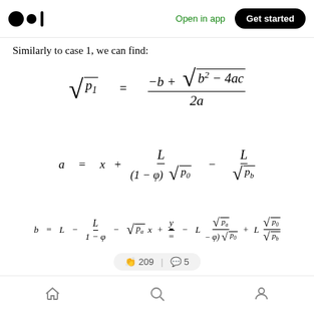Open in app | Get started
Similarly to case 1, we can find:
👋 209 | 💬 5